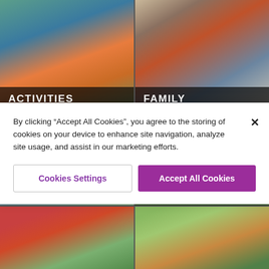[Figure (photo): Girl in orange life vest holding up a caught fish while fishing on a lake]
ACTIVITIES
[Figure (photo): Father holding a young child wearing a colorful knit hat, outdoors in winter]
FAMILY
[Figure (photo): Two hikers on a rocky trail, one helping the other climb up]
[Figure (photo): Snow-capped mountain peaks with pine trees in the foreground]
[Figure (photo): Partial bottom-left image, outdoor scene]
[Figure (photo): Partial bottom-right image, outdoor scene]
By clicking “Accept All Cookies”, you agree to the storing of cookies on your device to enhance site navigation, analyze site usage, and assist in our marketing efforts.
Cookies Settings
Accept All Cookies